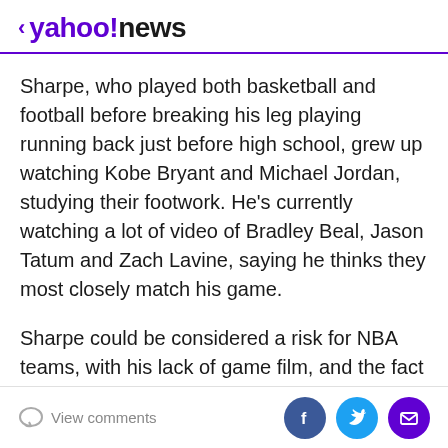< yahoo!news
Sharpe, who played both basketball and football before breaking his leg playing running back just before high school, grew up watching Kobe Bryant and Michael Jordan, studying their footwork. He's currently watching a lot of video of Bradley Beal, Jason Tatum and Zach Lavine, saying he thinks they most closely match his game.
Sharpe could be considered a risk for NBA teams, with his lack of game film, and the fact he hasn't seen any significant five-on-five action since a high school game in October that was nationally televised in the U.S. Big games are a chance for players to prove how they react
View comments